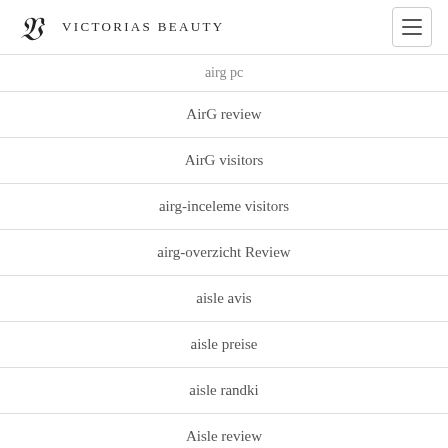Victorias Beauty
airg pc
AirG review
AirG visitors
airg-inceleme visitors
airg-overzicht Review
aisle avis
aisle preise
aisle randki
Aisle review